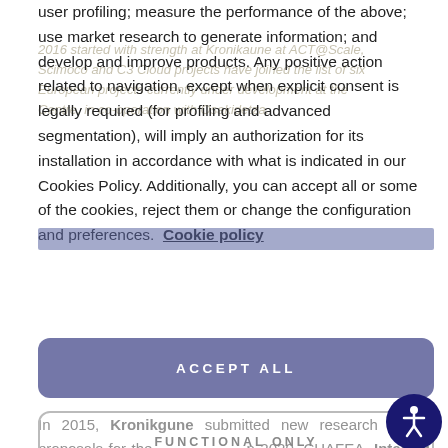user profiling; measure the performance of the above; use market research to generate information; and develop and improve products. Any positive action related to navigation, except when explicit consent is legally required (for profiling and advanced segmentation), will imply an authorization for its installation in accordance with what is indicated in our Cookies Policy. Additionally, you can accept all or some of the cookies, reject them or change the configuration and preferences. Cookie policy
[Figure (other): ACCEPT ALL button — rounded rectangle, muted purple/slate background, white uppercase text with letter-spacing]
In 2015, Kronikgune submitted new research project proposals for the Horizon 2020, CHAFEA, Interreg, Joint Action schemes among others. A total of 13 projects were submitted in co-operation with Osakidetza. Five of the proposals have been successfully implemented. The projects awarded will cover the fi...
[Figure (other): FUNCTIONAL ONLY button — outlined rounded rectangle, gray border, gray uppercase text with letter-spacing]
[Figure (other): SET COOKIES button — outlined rounded rectangle, gray border, gray uppercase text with letter-spacing]